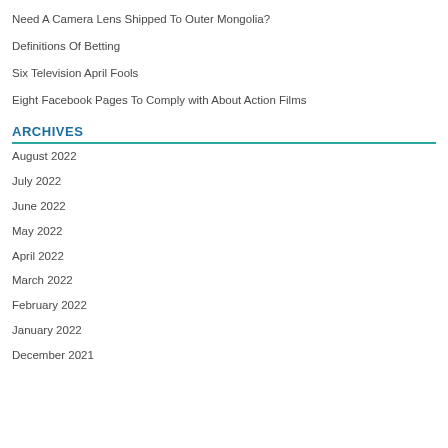Need A Camera Lens Shipped To Outer Mongolia?
Definitions Of Betting
Six Television April Fools
Eight Facebook Pages To Comply with About Action Films
ARCHIVES
August 2022
July 2022
June 2022
May 2022
April 2022
March 2022
February 2022
January 2022
December 2021